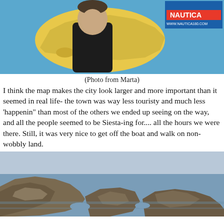[Figure (photo): Person standing in front of a large map of Ibiza/Mallorca island on a blue wall, with a Nautica sign visible in the top right corner]
(Photo from Marta)
I think the map makes the city look larger and more important than it seemed in real life- the town was way less touristy and much less 'happenin" than most of the others we ended up seeing on the way, and all the people seemed to be Siesta-ing for.... all the hours we were there. Still, it was very nice to get off the boat and walk on non-wobbly land.
[Figure (photo): Rocky coastal cliffs and sea, showing jagged limestone rocks jutting into calm blue-grey water]